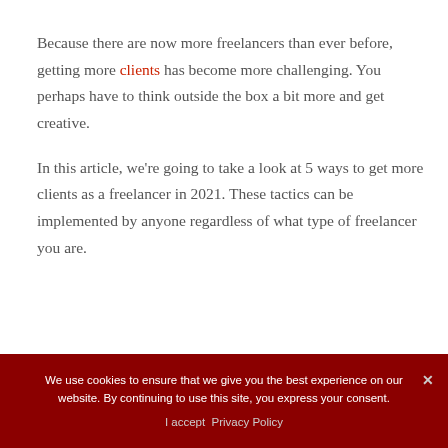Because there are now more freelancers than ever before, getting more clients has become more challenging. You perhaps have to think outside the box a bit more and get creative.
In this article, we're going to take a look at 5 ways to get more clients as a freelancer in 2021. These tactics can be implemented by anyone regardless of what type of freelancer you are.
We use cookies to ensure that we give you the best experience on our website. By continuing to use this site, you express your consent.
I accept  Privacy Policy